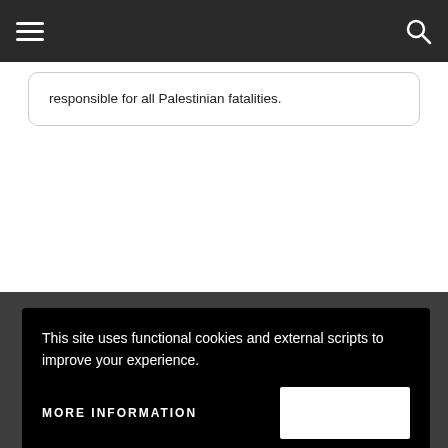Navigation header with hamburger menu and search icon
responsible for all Palestinian fatalities.
ABOUT US
CAMERA-UK is the UK division of
This site uses functional cookies and external scripts to improve your experience.
MORE INFORMATION
and dedicated to promoting fair